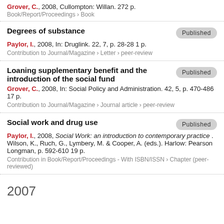Grover, C., 2008, Cullompton: Willan. 272 p.
Book/Report/Proceedings › Book
Degrees of substance
Published
Paylor, I., 2008, In: Druglink. 22, 7, p. 28-28 1 p.
Contribution to Journal/Magazine › Letter › peer-review
Loaning supplementary benefit and the introduction of the social fund
Published
Grover, C., 2008, In: Social Policy and Administration. 42, 5, p. 470-486 17 p.
Contribution to Journal/Magazine › Journal article › peer-review
Social work and drug use
Published
Paylor, I., 2008, Social Work: an introduction to contemporary practice . Wilson, K., Ruch, G., Lymbery, M. & Cooper, A. (eds.). Harlow: Pearson Longman, p. 592-610 19 p.
Contribution in Book/Report/Proceedings - With ISBN/ISSN › Chapter (peer-reviewed)
2007